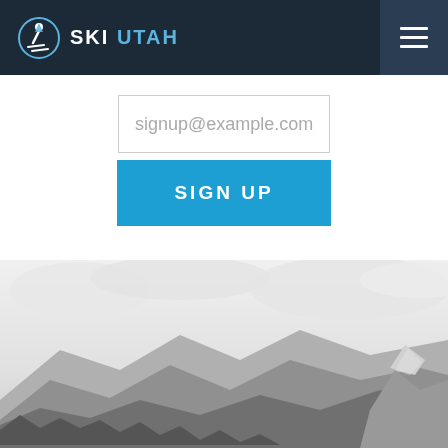[Figure (logo): Ski Utah logo with skier icon and text 'SKI UTAH' in white and blue on dark navy navigation bar]
signup@example.com
SIGN UP
[Figure (photo): Black and white photograph of Utah mountain peaks with clouds and sky in the background]